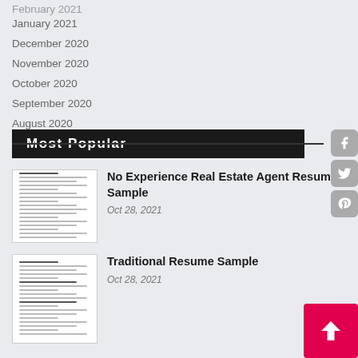February 2021
January 2021
December 2020
November 2020
October 2020
September 2020
August 2020
July 2020
Most Popular
[Figure (other): Thumbnail of a resume document]
No Experience Real Estate Agent Resume Sample
Oct 28, 2021
[Figure (other): Thumbnail of a traditional resume document]
Traditional Resume Sample
Oct 28, 2021